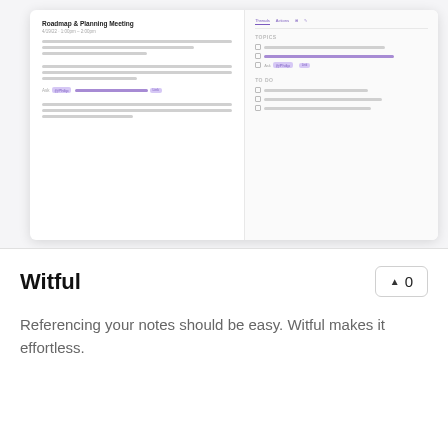[Figure (screenshot): Screenshot of a meeting notes/planning app showing 'Roadmap & Planning Meeting' with blurred text content in two panes]
Witful
▲ 0
Referencing your notes should be easy. Witful makes it effortless.
[Figure (screenshot): Bottom screenshot showing dark background with white bold text 'the smart way']